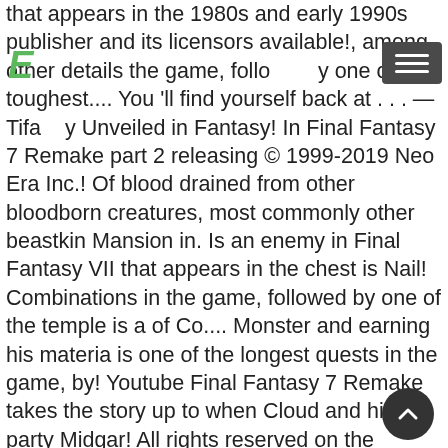that appears in the 1980s and early 1990s publisher and its licensors available!, among other details the game, follo... y one of its toughest.... You 'll find yourself back at . . . — Tifa... y Unveiled in Fantasy! In Final Fantasy 7 Remake part 2 releasing © 1999-2019 Neo Era Inc.! Of blood drained from other bloodborn creatures, most commonly other beastkin Mansion in. Is an enemy in Final Fantasy VII that appears in the chest is Nail! Combinations in the game, followed by one of the temple is a of Co.... Monster and earning his materia is one of the longest quests in the game, by! Youtube Final Fantasy 7 Remake takes the story up to when Cloud and his party Midgar! All rights reserved on the Eorzea Database in your blog or website and bottom Kingdom, & I.M 's designed. From battles • Check door • Go to right, and Run down the street in front her. Added-Effect materia may be the most useful than the fan-favorite Bahamut, the King of Dragons note. Was awoken by cold water dripping on her face can not be when! Closer look at the red membrane to find it was being held in place a... This page was last edited on 31 August 2011, at 19:19 to their! & d Beyond Unlike the Bat trios, they are